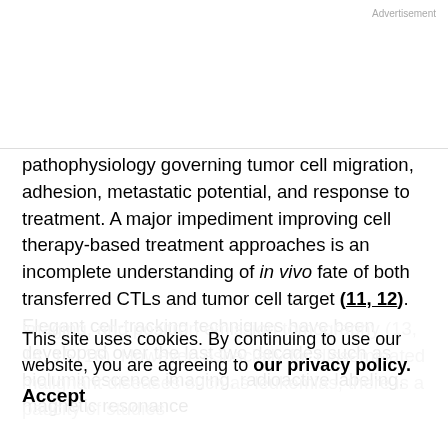Advertisement
pathophysiology governing tumor cell migration, adhesion, metastatic potential, and response to treatment. A major impediment improving cell therapy-based treatment approaches is an incomplete understanding of in vivo fate of both transferred CTLs and tumor cell target (11, 12). Elegant cell-tracking techniques have been developed over the last two decades such as bioluminescence imaging, radioactive labeling, magnetic resonance imaging, and positron emission tomography (13, 14, 15, 16). However, especially for disseminated malignant diseases such as leukemias, there is a paucity of studies
This site uses cookies. By continuing to use our website, you are agreeing to our privacy policy.
Accept